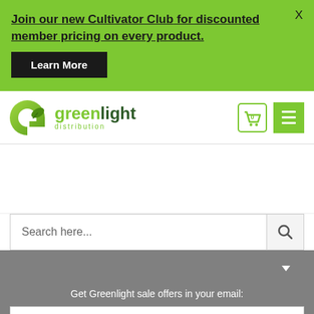Join our new Cultivator Club for discounted member pricing on every product.
Learn More
[Figure (logo): Greenlight Distribution logo with stylized green G and leaf icon, text reads 'green light distribution']
[Figure (other): Shopping cart icon with 0 badge and green hamburger menu button]
Search here...
Get Greenlight sale offers in your email:
Your email address..
SUBSCRIBE